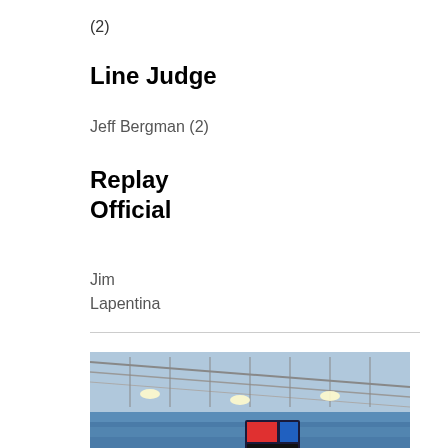(2)
Line Judge
Jeff Bergman (2)
Replay Official
Jim
Lapentina
[Figure (photo): A group of NFL referees in black and white striped uniforms standing on a football field inside a stadium with a large retractable roof. The stadium is full of fans. There are also a few men in suits standing with the officials. A large video board is visible in the background.]